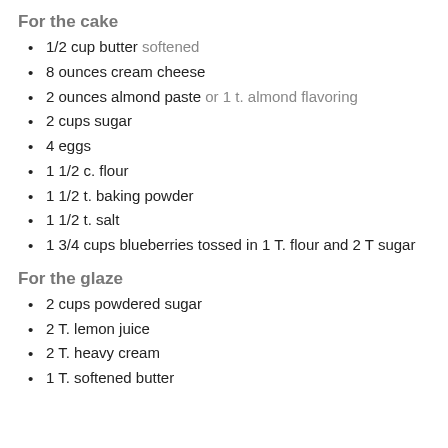For the cake
1/2 cup butter softened
8 ounces cream cheese
2 ounces almond paste or 1 t. almond flavoring
2 cups sugar
4 eggs
1 1/2 c. flour
1 1/2 t. baking powder
1 1/2 t. salt
1 3/4 cups blueberries tossed in 1 T. flour and 2 T sugar
For the glaze
2 cups powdered sugar
2 T. lemon juice
2 T. heavy cream
1 T. softened butter